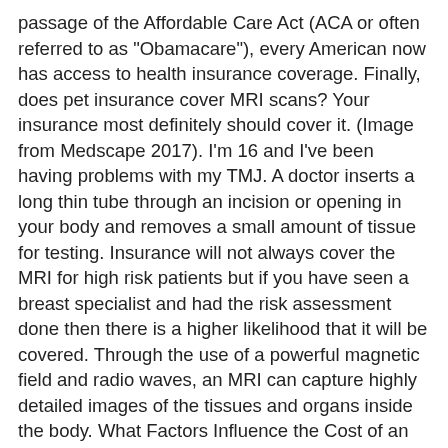passage of the Affordable Care Act (ACA or often referred to as "Obamacare"), every American now has access to health insurance coverage. Finally, does pet insurance cover MRI scans? Your insurance most definitely should cover it. (Image from Medscape 2017). I'm 16 and I've been having problems with my TMJ. A doctor inserts a long thin tube through an incision or opening in your body and removes a small amount of tissue for testing. Insurance will not always cover the MRI for high risk patients but if you have seen a breast specialist and had the risk assessment done then there is a higher likelihood that it will be covered. Through the use of a powerful magnetic field and radio waves, an MRI can capture highly detailed images of the tissues and organs inside the body. What Factors Influence the Cost of an MRI scan? Medicare Part B may cover up to 80% of the scan and the rest can be paid for with deductibles or Medicare supplements (Medigap). Your MRI has been prescribed or ordered by a doctor who accepts Medicare. Through the use of a powerful magnetic field and radio waves, an MRI can capture highly detailed … Speak to your doctor if you have concerns about what MRI testing is going to cost, and don't hesitate to ask for a realistic estimate based on your Medicare coverage. Original Medicare covers 80 percent